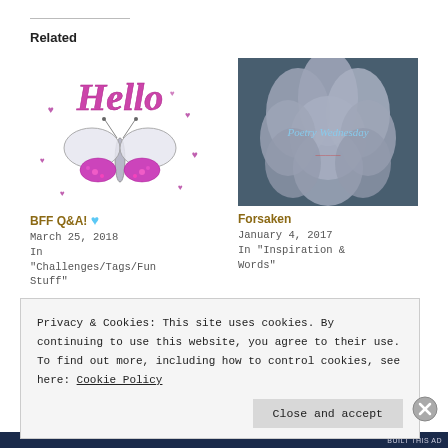Related
[Figure (illustration): Hello text with decorative butterfly image in purple/pink glitter style]
[Figure (photo): White flower (peony) with 'Poetry Wednesday' text overlay on dark background]
BFF Q&A! 💙
March 25, 2018
In "Challenges/Tags/Fun Stuff"
Forsaken
January 4, 2017
In "Inspiration & Words"
Privacy & Cookies: This site uses cookies. By continuing to use this website, you agree to their use.
To find out more, including how to control cookies, see here: Cookie Policy
Close and accept
Made Easy